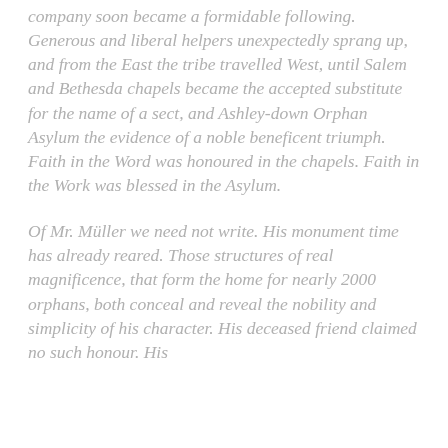company soon became a formidable following. Generous and liberal helpers unexpectedly sprang up, and from the East the tribe travelled West, until Salem and Bethesda chapels became the accepted substitute for the name of a sect, and Ashley-down Orphan Asylum the evidence of a noble beneficent triumph. Faith in the Word was honoured in the chapels. Faith in the Work was blessed in the Asylum.
Of Mr. Müller we need not write. His monument time has already reared. Those structures of real magnificence, that form the home for nearly 2000 orphans, both conceal and reveal the nobility and simplicity of his character. His deceased friend claimed no such honour. His